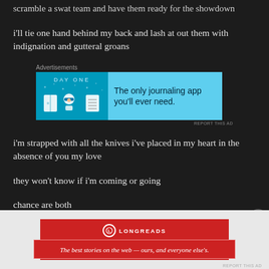scramble a swat team and have them ready for the showdown
i'll tie one hand behind my back and lash at out them with indignation and gutteral groans
[Figure (other): Advertisement banner for Day One journaling app with cyan background and icons]
i'm strapped with all the knives i've placed in my heart in the absence of you my love
they won't know if i'm coming or going
chance are both
[Figure (other): Longreads promotional banner: The best stories on the web — ours, and everyone else's.]